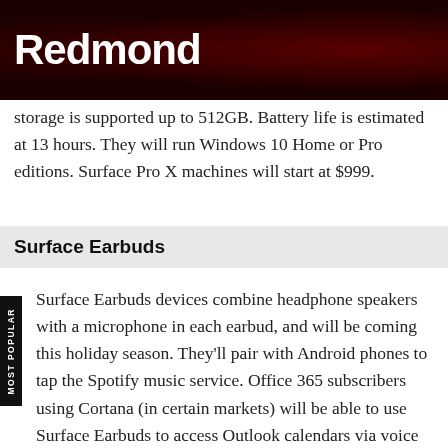Redmond
storage is supported up to 512GB. Battery life is estimated at 13 hours. They will run Windows 10 Home or Pro editions. Surface Pro X machines will start at $999.
Surface Earbuds
Surface Earbuds devices combine headphone speakers with a microphone in each earbud, and will be coming this holiday season. They'll pair with Android phones to tap the Spotify music service. Office 365 subscribers using Cortana (in certain markets) will be able to use Surface Earbuds to access Outlook calendars via voice commands. Battery life is estimated at eight